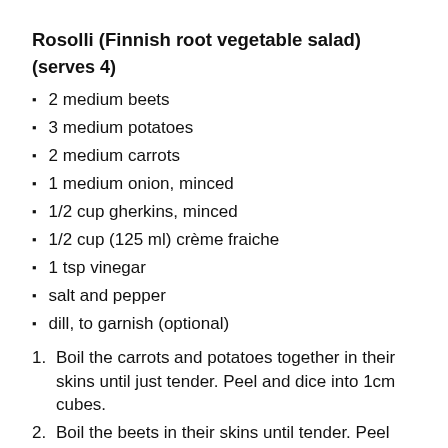Rosolli (Finnish root vegetable salad)
(serves 4)
2 medium beets
3 medium potatoes
2 medium carrots
1 medium onion, minced
1/2 cup gherkins, minced
1/2 cup (125 ml) crème fraiche
1 tsp vinegar
salt and pepper
dill, to garnish (optional)
1. Boil the carrots and potatoes together in their skins until just tender. Peel and dice into 1cm cubes.
2. Boil the beets in their skins until tender. Peel and dice into 1 cm cubes.